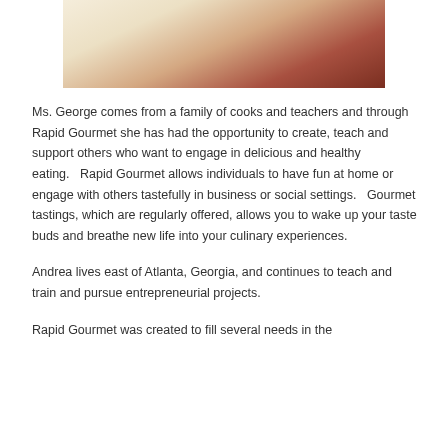[Figure (photo): Close-up photo of what appears to be a light-colored cloth or dough on a dark wooden surface]
Ms. George comes from a family of cooks and teachers and through  Rapid Gourmet she has had the opportunity to create, teach and support others who want to engage in delicious and healthy eating.   Rapid Gourmet allows individuals to have fun at home or engage with others tastefully in business or social settings.   Gourmet tastings, which are regularly offered, allows you to wake up your taste buds and breathe new life into your culinary experiences.
Andrea lives east of Atlanta, Georgia, and continues to teach and train and pursue entrepreneurial projects.
Rapid Gourmet was created to fill several needs in the